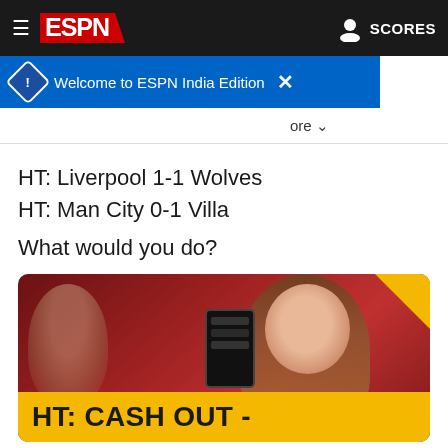ESPN - SCORES
Welcome to ESPN India Edition
ore ∨
HT: Liverpool 1-1 Wolves
HT: Man City 0-1 Villa
What would you do?
[Figure (photo): Advertisement image showing a smiling woman holding a smartphone, with a yellow banner at the bottom reading 'HT: CASH OUT -' and a yellow corner accent at top right. Background appears to be a sports/stadium setting in red tones.]